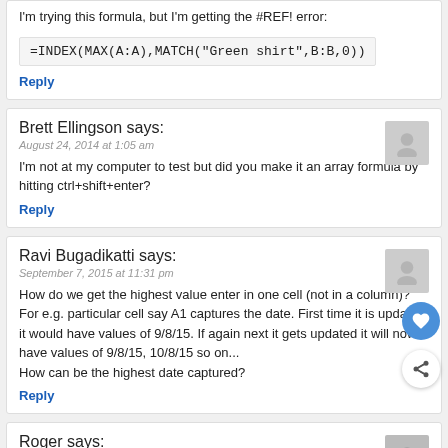I'm trying this formula, but I'm getting the #REF! error:
Reply
Brett Ellingson says:
August 24, 2014 at 1:05 am
I'm not at my computer to test but did you make it an array formula by hitting ctrl+shift+enter?
Reply
Ravi Bugadikatti says:
September 7, 2015 at 11:31 pm
How do we get the highest value enter in one cell (not in a column)?
For e.g. particular cell say A1 captures the date. First time it is updated it would have values of 9/8/15. If again next it gets updated it will now have values of 9/8/15, 10/8/15 so on...
How can be the highest date captured?
Reply
Roger says:
January 21, 2016 at 8:20 am
Here's the format on Sheet1 of Excel
? suppose Columns are in A, B, C, D respectively.
S. No. Box Name Arrival Date No. of Pakgs